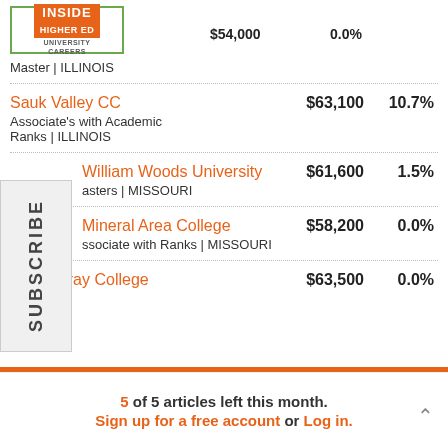Inside Higher Ed University Careers
Master | ILLINOIS — $54,000 — 0.0%
Sauk Valley CC — Associate's with Academic Ranks | ILLINOIS — $63,100 — 10.7%
William Woods University — Masters | MISSOURI — $61,600 — 1.5%
Mineral Area College — Associate with Ranks | MISSOURI — $58,200 — 0.0%
MacMurray College — $63,500 — 0.0%
5 of 5 articles left this month. Sign up for a free account or Log in.